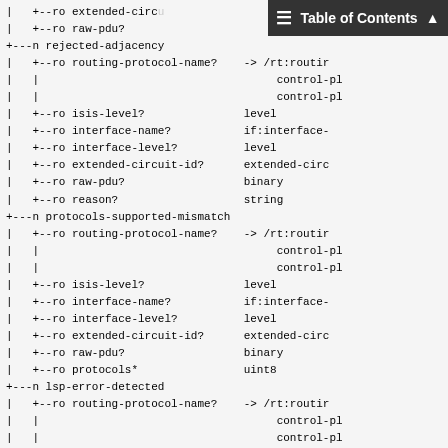YANG tree diagram showing IS-IS protocol data nodes including rejected-adjacency, protocols-supported-mismatch, and lsp-error-detected with their respective routing-protocol-name, isis-level, interface-name, interface-level, extended-circuit-id, raw-pdu, reason, protocols, and lsp-id fields.
Table of Contents